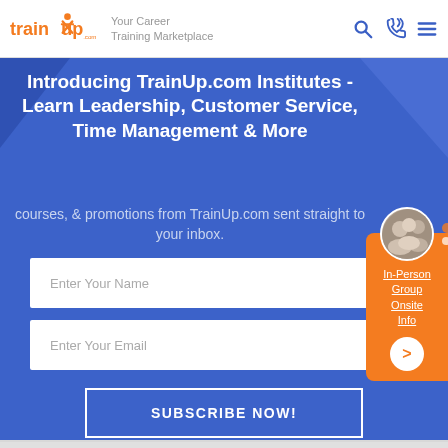trainXup.com — Your Career Training Marketplace
Introducing TrainUp.com Institutes - Learn Leadership, Customer Service, Time Management & More
courses, & promotions from TrainUp.com sent straight to your inbox.
Enter Your Name
Enter Your Email
SUBSCRIBE NOW!
[Figure (other): Orange sidebar panel with photo of group of people, underlined links reading In-Person Group Onsite Info, and a white circular arrow button. Orange dots decoration in top right.]